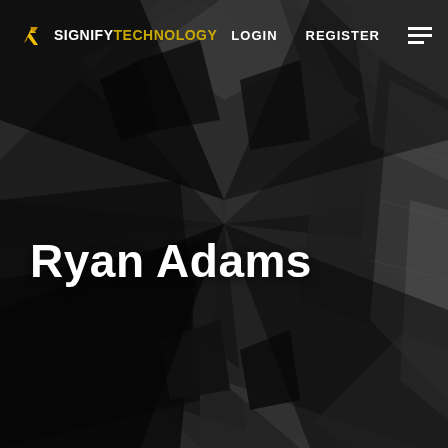[Figure (screenshot): Signify Technology website hero section with dark geometric architectural background showing angular building shapes forming an X pattern in grayscale]
SIGNIFY TECHNOLOGY  LOGIN  REGISTER
Ryan Adams